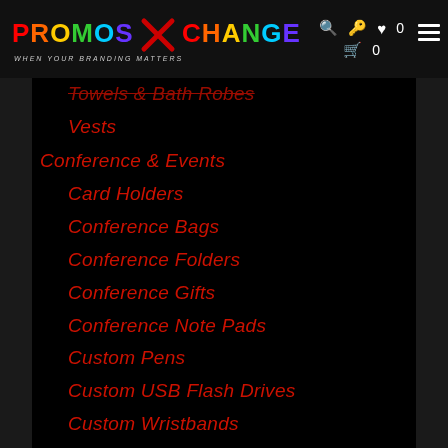[Figure (logo): PromosXchange logo with colorful letters, red X graphic, tagline 'WHEN YOUR BRANDING MATTERS', and navigation icons (search, login, heart 0, cart 0) and hamburger menu on black header bar]
Towels & Bath Robes
Vests
Conference & Events
Card Holders
Conference Bags
Conference Folders
Conference Gifts
Conference Note Pads
Custom Pens
Custom USB Flash Drives
Custom Wristbands
Plastic ID Cards
Printed Lanyards